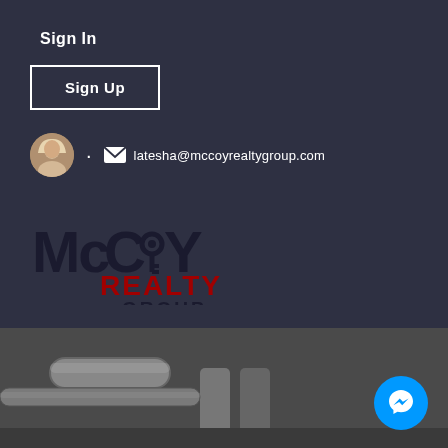Sign In
Sign Up
latesha@mccoyrealtygroup.com
[Figure (logo): McCoy Realty Group logo with stylized text, key symbol in the O of McCoy, REALTY in red and GROUP below]
YOUR DREAM OF HOME OWNERSHIP IS OUR MISSION
[Figure (photo): Bottom portion of a property photo showing pipes/ducts in what appears to be a basement or utility area]
[Figure (other): Blue circular Facebook Messenger chat button in bottom right corner]